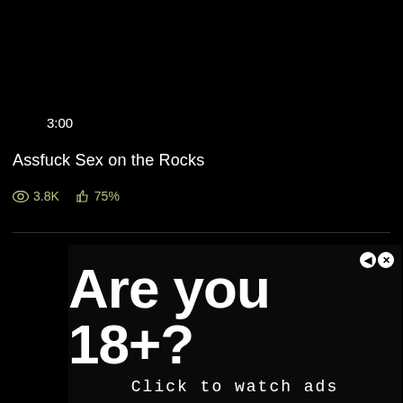3:00
Assfuck Sex on the Rocks
3.8K  75%
[Figure (screenshot): Age verification ad overlay on a dark background reading 'Are you 18+?' in large bold white text, with 'Click to watch ads' below in monospace style text, and two small circular close/back buttons in the top right corner.]